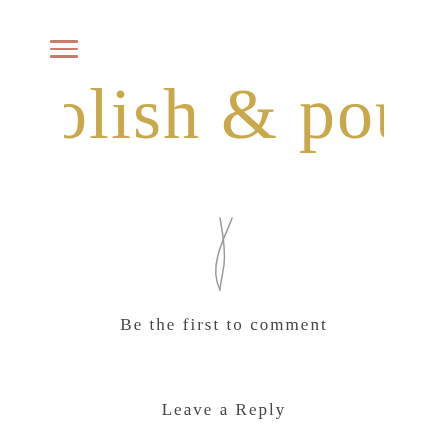[Figure (logo): Hamburger menu icon — three horizontal lines in dusty rose/salmon color, top-left corner]
polish & pout
[Figure (illustration): Small grey handwritten-style cursive letter or pen-stroke mark, resembling a stylized 'U' or signature flourish, centered on the page]
Be the first to comment
Leave a Reply